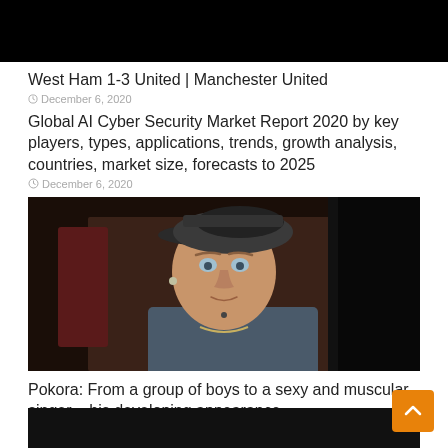[Figure (photo): Black banner/image at top of page (partially visible, cropped)]
West Ham 1-3 United | Manchester United
December 6, 2020
Global AI Cyber Security Market Report 2020 by key players, types, applications, trends, growth analysis, countries, market size, forecasts to 2025
December 6, 2020
[Figure (photo): Photo of a young man wearing a backwards baseball cap, earring, blue t-shirt and chain necklace, looking at camera]
Pokora: From a group of boys to a sexy and muscular singer – his developing appearance
December 6, 2020
[Figure (photo): Partially visible dark image at bottom of page (cropped)]